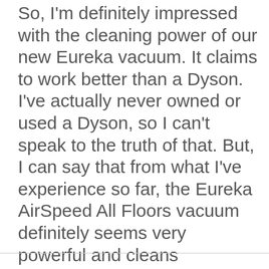So, I'm definitely impressed with the cleaning power of our new Eureka vacuum. It claims to work better than a Dyson. I've actually never owned or used a Dyson, so I can't speak to the truth of that. But, I can say that from what I've experience so far, the Eureka AirSpeed All Floors vacuum definitely seems very powerful and cleans exceptionally well! And, for a $100 price point, I think that is extra amazing!